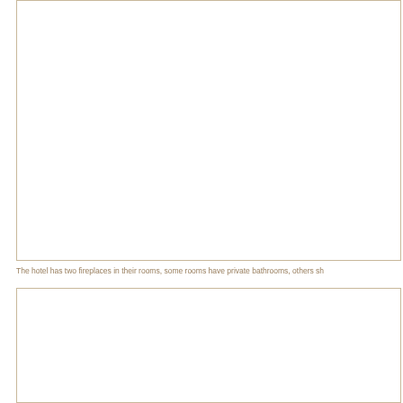[Figure (photo): Empty white photo box with tan/beige border, top image placeholder]
The hotel has two fireplaces in their rooms, some rooms have private bathrooms, others sh
[Figure (photo): Empty white photo box with tan/beige border, bottom image placeholder]